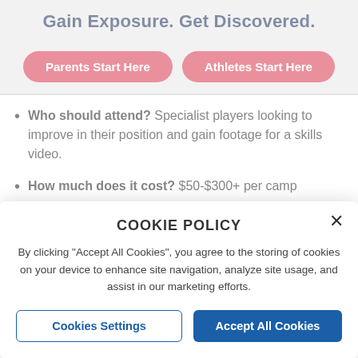Gain Exposure. Get Discovered.
[Figure (other): Two red rounded-rectangle buttons: 'Parents Start Here' and 'Athletes Start Here']
Who should attend? Specialist players looking to improve in their position and gain footage for a skills video.
How much does it cost? $50-$300+ per camp
College football prospect camps
COOKIE POLICY
By clicking "Accept All Cookies", you agree to the storing of cookies on your device to enhance site navigation, analyze site usage, and assist in our marketing efforts.
[Figure (other): Two buttons: 'Cookies Settings' (outline) and 'Accept All Cookies' (solid blue)]